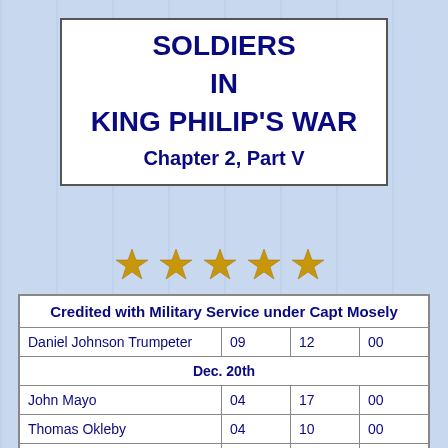SOLDIERS IN KING PHILIP'S WAR Chapter 2, Part V
[Figure (illustration): Five gold star decorative icons in a row]
| Credited with Military Service under Capt Mosely |  |  |  |
| --- | --- | --- | --- |
| Daniel Johnson Trumpeter | 09 | 12 | 00 |
| Dec. 20th |  |  |  |
| John Mayo | 04 | 17 | 00 |
| Thomas Okleby | 04 | 10 | 00 |
| John Casey | 01 | 15 | 06 |